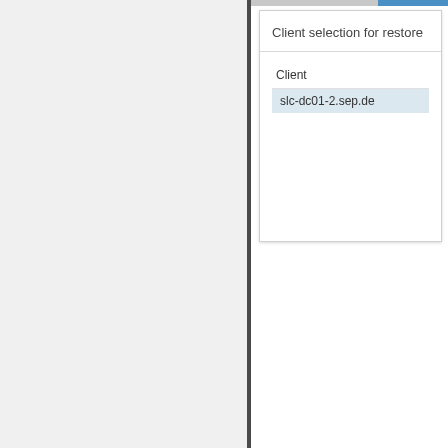[Figure (screenshot): UI screenshot showing a left panel with light gray background and a right panel containing a 'Client selection for restore' dialog box with a table listing client 'slc-dc01-2.sep.de']
Client selection for restore
| Client |
| --- |
| slc-dc01-2.sep.de |